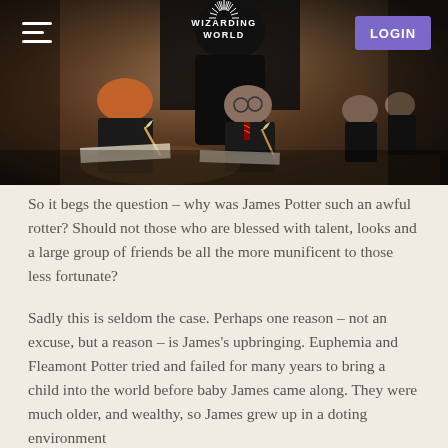[Figure (photo): Hero image showing Harry Potter and Ron Weasley in a classroom scene, writing with quills. A figure in dark robes stands over them. Other students are visible in the background. Navigation bar overlaid on top with hamburger menu, Wizarding World logo, and purple LOGIN button.]
So it begs the question – why was James Potter such an awful rotter? Should not those who are blessed with talent, looks and a large group of friends be all the more munificent to those less fortunate?
Sadly this is seldom the case. Perhaps one reason – not an excuse, but a reason – is James's upbringing. Euphemia and Fleamont Potter tried and failed for many years to bring a child into the world before baby James came along. They were much older, and wealthy, so James grew up in a doting environment